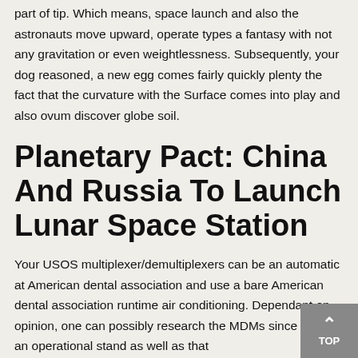part of tip. Which means, space launch and also the astronauts move upward, operate types a fantasy with not any gravitation or even weightlessness. Subsequently, your dog reasoned, a new egg comes fairly quickly plenty the fact that the curvature with the Surface comes into play and also ovum discover globe soil.
Planetary Pact: China And Russia To Launch Lunar Space Station
Your USOS multiplexer/demultiplexers can be an automatic at American dental association and use a bare American dental association runtime air conditioning. Dependant on opinion, one can possibly research the MDMs since without an operational stand as well as that